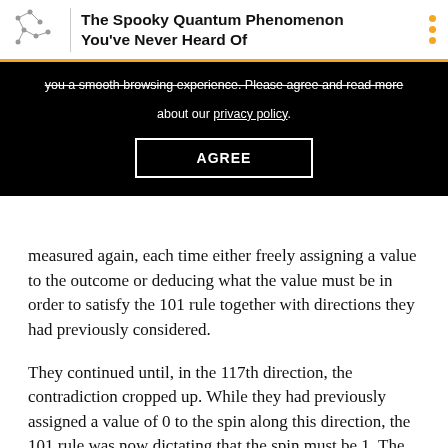The Spooky Quantum Phenomenon You've Never Heard Of
you a smooth browsing experience. Please agree and read more about our privacy policy.
AGREE
measured again, each time either freely assigning a value to the outcome or deducing what the value must be in order to satisfy the 101 rule together with directions they had previously considered.
They continued until, in the 117th direction, the contradiction cropped up. While they had previously assigned a value of 0 to the spin along this direction, the 101 rule was now dictating that the spin must be 1. The outcome of a measurement could not possibly return both 0 and 1. So the